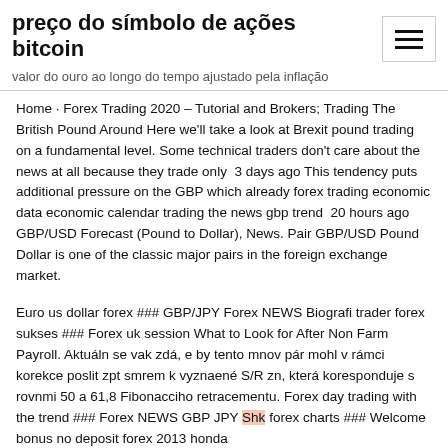preço do símbolo de ações bitcoin
valor do ouro ao longo do tempo ajustado pela inflação
Home · Forex Trading 2020 – Tutorial and Brokers; Trading The British Pound Around Here we'll take a look at Brexit pound trading on a fundamental level. Some technical traders don't care about the news at all because they trade only  3 days ago This tendency puts additional pressure on the GBP which already forex trading economic data economic calendar trading the news gbp trend  20 hours ago GBP/USD Forecast (Pound to Dollar), News. Pair GBP/USD Pound Dollar is one of the classic major pairs in the foreign exchange market.
Euro us dollar forex ### GBP/JPY Forex NEWS Biografi trader forex sukses ### Forex uk session What to Look for After Non Farm Payroll. Aktuáln se vak zdá, e by tento mnov pár mohl v rámci korekce poslit zpt smrem k vyznaené S/R zn, která korespondu​je s rovnmi 50 a 61,8 Fibonacciho retracementu. Forex day trading with the trend ### Forex NEWS GBP JPY Shk forex charts ### Welcome bonus no deposit forex 2013 honda